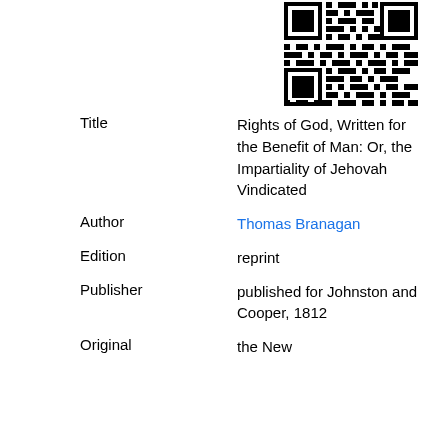[Figure (other): QR code in upper right portion of the page]
| Title | Rights of God, Written for the Benefit of Man: Or, the Impartiality of Jehovah Vindicated |
| Author | Thomas Branagan |
| Edition | reprint |
| Publisher | published for Johnston and Cooper, 1812 |
| Original | the New |